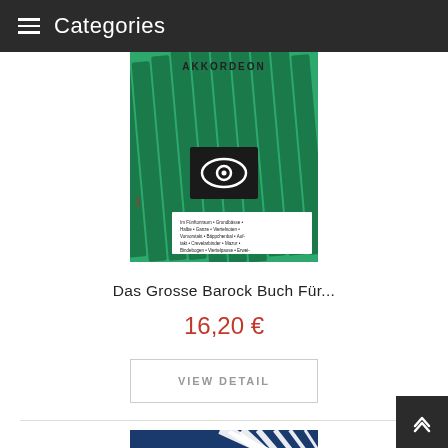Categories
[Figure (photo): Book cover for accordion method book with green cover, black eye symbol, and text listing musical topics]
Das Grosse Barock Buch Für...
16,20 €
VIEW DETAIL
[Figure (photo): Partial view of REGINA Akkordeon book cover with blue and white diagonal stripes design]